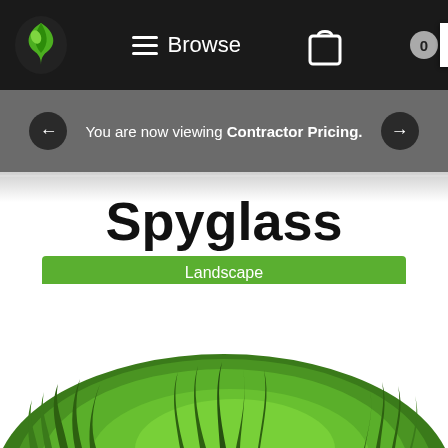[Figure (screenshot): Navigation bar with green leaf logo, hamburger Browse menu, shopping bag icon, badge showing 0, and corner cart icon on dark background]
You are now viewing Contractor Pricing.
Spyglass
Landscape
[Figure (photo): Close-up photo of a mound of lush green artificial grass/turf on white background]